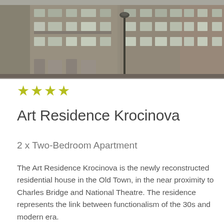[Figure (photo): Exterior photo of a multi-storey residential building with functionalist architecture style, showing a facade with multiple rows of rectangular windows, a street lamp in the center, and concrete/stone exterior.]
★★★★
Art Residence Krocinova
2 x Two-Bedroom Apartment
The Art Residence Krocinova is the newly reconstructed residential house in the Old Town, in the near proximity to Charles Bridge and National Theatre. The residence represents the link between functionalism of the 30s and modern era.